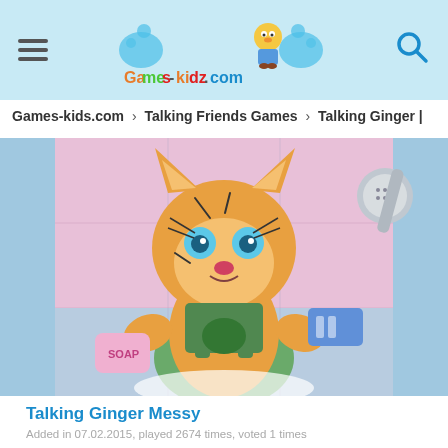Games-kids.com header with hamburger menu, logo, and search icon
Games-kids.com > Talking Friends Games > Talking Ginger |
[Figure (illustration): Cartoon image of Talking Ginger (orange cat) in a bathroom setting, holding soap and a scrub brush, with scratches on face, wearing green overalls. Shower head visible in background.]
Talking Ginger Messy
Added in 07.02.2015, played 2674 times, voted 1 times
This game is not mobile friendly. Please acces this game from your PC or try another game.